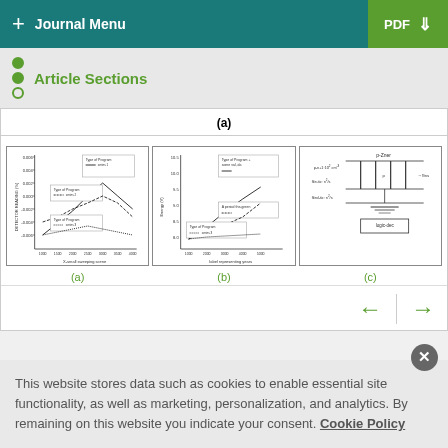+ Journal Menu | PDF ↓
Article Sections
(a)
[Figure (continuous-plot): Scientific scatter/line plot (a) showing data vs. small running scores axis, multiple legend entries]
[Figure (continuous-plot): Scientific scatter/line plot (b) showing Energy(V) vs. label representing years axis, multiple legend entries]
[Figure (engineering-diagram): Schematic diagram (c) showing p-Zner, p-n+1·10^2 cm^-3, file-tic: n^2/s, n-Gns, and logic-dec labels]
(a)
(b)
(c)
This website stores data such as cookies to enable essential site functionality, as well as marketing, personalization, and analytics. By remaining on this website you indicate your consent. Cookie Policy